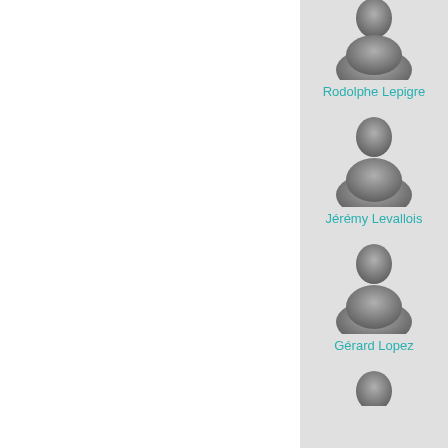[Figure (illustration): Generic person silhouette avatar for Rodolphe Lepigre]
Rodolphe Lepigre
[Figure (illustration): Generic person silhouette avatar for Jérémy Levallois]
Jérémy Levallois
[Figure (illustration): Generic person silhouette avatar for Gérard Lopez]
Gérard Lopez
[Figure (illustration): Generic person silhouette avatar (partially visible at bottom)]